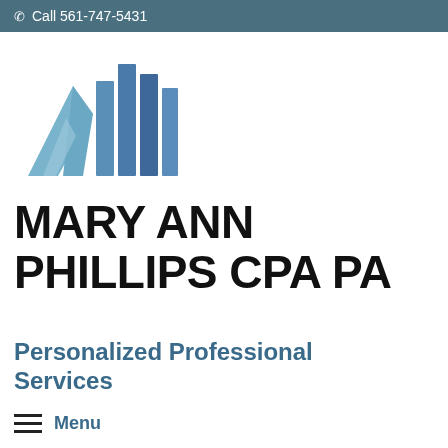Call 561-747-5431
[Figure (logo): Mary Ann Phillips CPA PA logo featuring stylized blue building/mountain shapes in light blue and dark blue/indigo colors]
MARY ANN PHILLIPS CPA PA
Personalized Professional Services
Menu